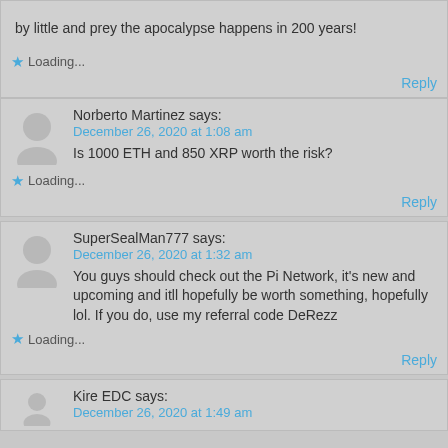by little and prey the apocalypse happens in 200 years!
Loading...
Reply
Norberto Martinez says:
December 26, 2020 at 1:08 am
Is 1000 ETH and 850 XRP worth the risk?
Loading...
Reply
SuperSealMan777 says:
December 26, 2020 at 1:32 am
You guys should check out the Pi Network, it's new and upcoming and itll hopefully be worth something, hopefully lol. If you do, use my referral code DeRezz
Loading...
Reply
Kire EDC says:
December 26, 2020 at 1:49 am